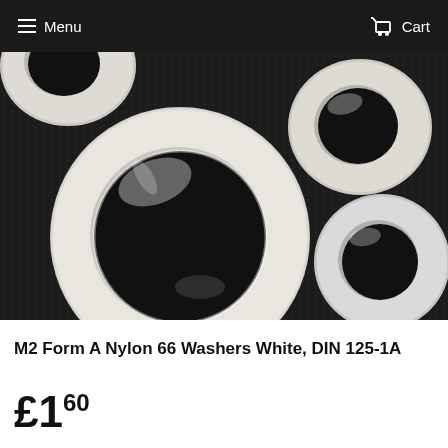Menu   Cart
[Figure (photo): Multiple white nylon washers (ring-shaped) arranged on a black textured surface. A large washer dominates the left-center foreground, with smaller washers visible in the upper right and upper left areas.]
M2 Form A Nylon 66 Washers White, DIN 125-1A
£1.60